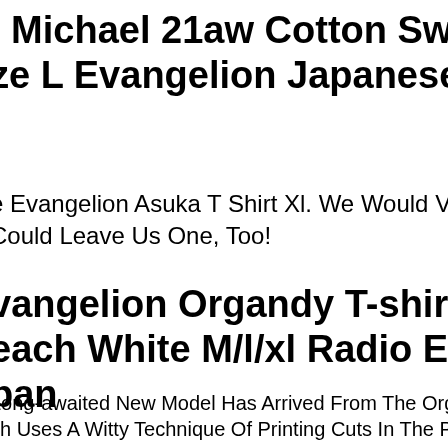. Michael 21aw Cotton Sweat Shirt Size L Evangelion Japanese Excelle
e Evangelion Asuka T Shirt Xl. We Would Very Much Appreciate It If You Could Leave Us One, Too!
Evangelion Organdy T-shirt The Beach White M/l/xl Radio Eva From Japan
Long-awaited New Model Has Arrived From The Organdy T-shirt Which Uses A Witty Technique Of Printing Cuts In The Play On A Very And Lightly Transparent Organdy Fabric. Evangelion Organdy T-shirt Is The Beach White.